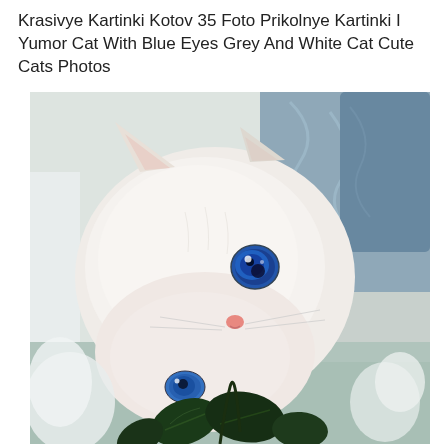Krasivye Kartinki Kotov 35 Foto Prikolnye Kartinki I Yumor Cat With Blue Eyes Grey And White Cat Cute Cats Photos
[Figure (photo): A white kitten with striking blue eyes resting its head on a surface, looking over dark green leaves of a houseplant. The background shows soft grey fabric with swirling patterns. The cat has a pink nose and soft white fur.]